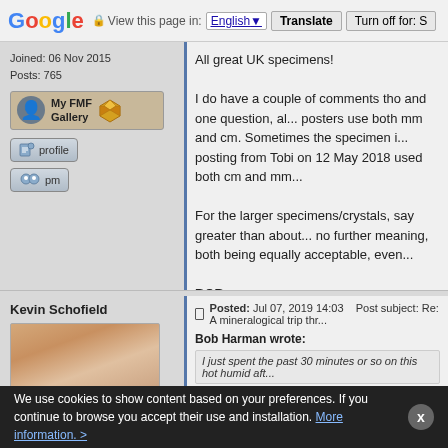Google  View this page in: English [▼]  Translate  Turn off for: S
Joined: 06 Nov 2015
Posts: 765
[Figure (other): My FMF Gallery button with user icon and gem icon]
[Figure (other): profile button]
[Figure (other): pm button]
All great UK specimens!

I do have a couple of comments tho and one question, all posters use both mm and cm. Sometimes the specimen i... posting from Tobi on 12 May 2018 used both cm and mm...

For the larger specimens/crystals, say greater than about... no further meaning, both being equally acceptable, even...

BOB
[Figure (other): Write a REPLY button]
[Figure (other): Reply Quoting this Message button]
Back to top
Kevin Schofield
Posted: Jul 07, 2019 14:03   Post subject: Re: A mineralogical trip thr...
Bob Harman wrote:
I just spent the past 30 minutes or so on this hot humid aft...
We use cookies to show content based on your preferences. If you continue to browse you accept their use and installation. More information. >